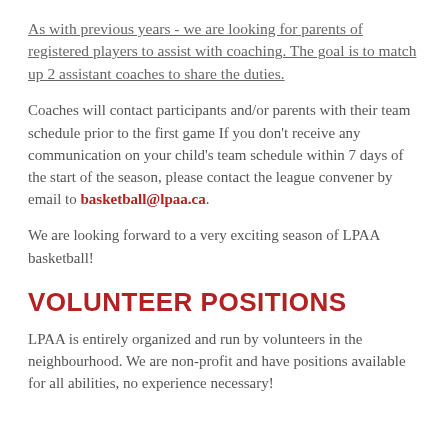As with previous years - we are looking for parents of registered players to assist with coaching.  The goal is to match up 2 assistant coaches to share the duties.
Coaches will contact participants and/or parents with their team schedule prior to the first game If you don't receive any communication on your child's team schedule within 7 days of the start of the season, please contact the league convener by email to basketball@lpaa.ca.
We are looking forward to a very exciting season of LPAA basketball!
VOLUNTEER POSITIONS
LPAA is entirely organized and run by volunteers in the neighbourhood. We are non-profit and have positions available for all abilities, no experience necessary!